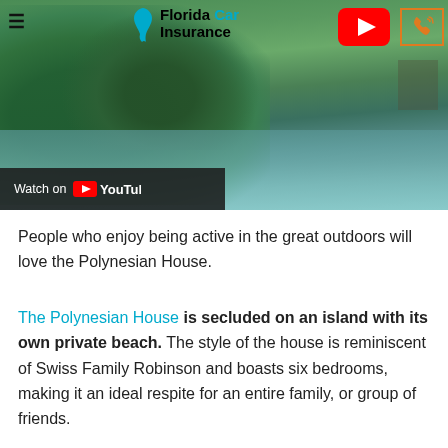[Figure (screenshot): Aerial drone video screenshot showing Florida waterway with mangroves and trees along shoreline, with Florida Car Insurance website header overlay including logo, YouTube play button, and phone button. A 'Watch on YouTube' bar appears at the bottom left of the video.]
People who enjoy being active in the great outdoors will love the Polynesian House.
The Polynesian House is secluded on an island with its own private beach. The style of the house is reminiscent of Swiss Family Robinson and boasts six bedrooms, making it an ideal respite for an entire family, or group of friends.